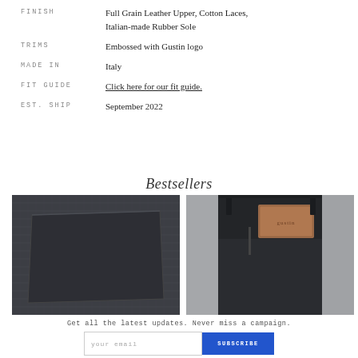| Attribute | Value |
| --- | --- |
| FINISH | Full Grain Leather Upper, Cotton Laces, Italian-made Rubber Sole |
| TRIMS | Embossed with Gustin logo |
| MADE IN | Italy |
| FIT GUIDE | Click here for our fit guide. |
| EST. SHIP | September 2022 |
Bestsellers
[Figure (photo): Close-up of dark navy/black denim fabric texture showing weave pattern]
[Figure (photo): Close-up of dark pants waistband area with brown leather Gustin brand patch/logo tag]
Get all the latest updates. Never miss a campaign.